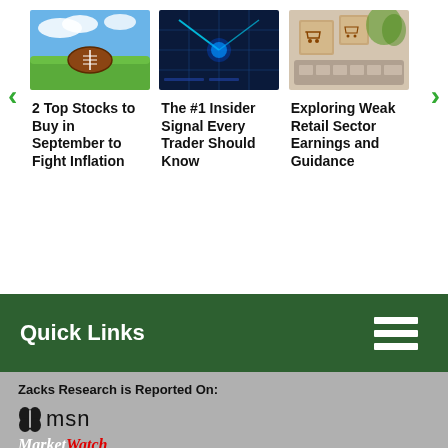[Figure (photo): Football on green grass field with blue sky]
2 Top Stocks to Buy in September to Fight Inflation
[Figure (photo): Blue-lit technology/trading screen with futuristic laser or scanner]
The #1 Insider Signal Every Trader Should Know
[Figure (photo): Shopping cart icons on cardboard boxes on a laptop keyboard]
Exploring Weak Retail Sector Earnings and Guidance
Quick Links
Zacks Research is Reported On:
[Figure (logo): MSN logo with butterfly icon and text 'msn']
[Figure (logo): MarketWatch logo in italic text]